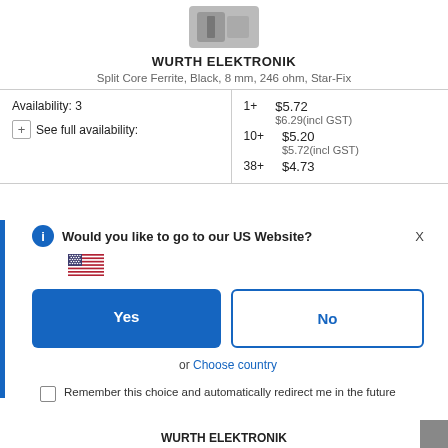[Figure (photo): Small electronic component/ferrite core device image at top]
WURTH ELEKTRONIK
Split Core Ferrite, Black, 8 mm, 246 ohm, Star-Fix
|  | Qty | Price |
| --- | --- | --- |
| Availability: 3 | 1+ | $5.72 |
| See full availability: |  | $6.29(incl GST) |
|  | 10+ | $5.20 |
|  |  | $5.72(incl GST) |
|  | 38+ | $4.73 |
Would you like to go to our US Website?
[Figure (illustration): US flag emoji/icon]
Yes
No
or Choose country
Remember this choice and automatically redirect me in the future
WURTH ELEKTRONIK